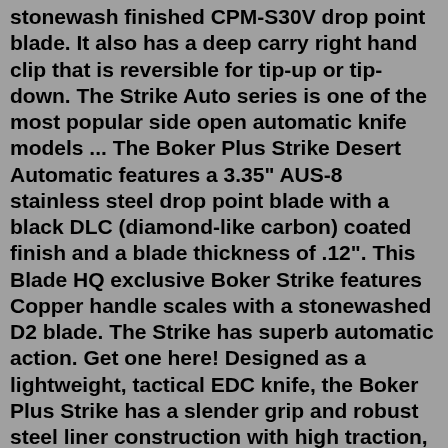stonewash finished CPM-S30V drop point blade. It also has a deep carry right hand clip that is reversible for tip-up or tip-down. The Strike Auto series is one of the most popular side open automatic knife models ... The Boker Plus Strike Desert Automatic features a 3.35" AUS-8 stainless steel drop point blade with a black DLC (diamond-like carbon) coated finish and a blade thickness of .12". This Blade HQ exclusive Boker Strike features Copper handle scales with a stonewashed D2 blade. The Strike has superb automatic action. Get one here! Designed as a lightweight, tactical EDC knife, the Boker Plus Strike has a slender grip and robust steel liner construction with high traction, textured milled aluminum scales for a secure grip. The push button lock is solid and secure and doubles as the deployment for this fully automatic folding knife. Apr 19, 2020 · Description Reviews 1. Without exaggerating, the Magnum Green Strike could be called the eye-catcher of any collection. Its appeal comes primarily from the green